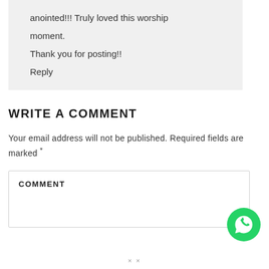anointed!!! Truly loved this worship moment.
Thank you for posting!!
Reply
WRITE A COMMENT
Your email address will not be published. Required fields are marked *
COMMENT
[Figure (logo): WhatsApp green circle button icon]